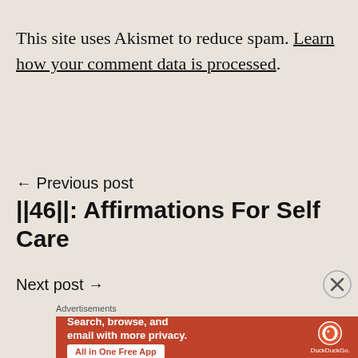This site uses Akismet to reduce spam. Learn how your comment data is processed.
← Previous post
||46||: Affirmations For Self Care
Next post →
[Figure (screenshot): DuckDuckGo advertisement banner showing 'Search, browse, and email with more privacy. All in One Free App' with DuckDuckGo logo on orange background.]